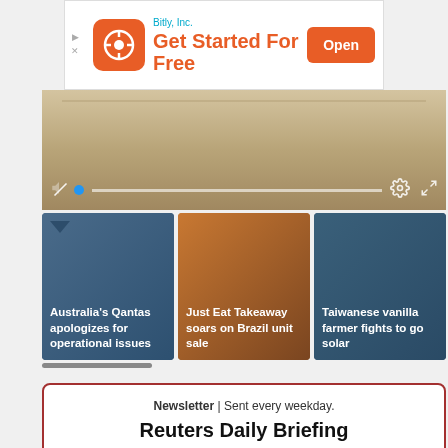[Figure (screenshot): Bitly Inc. advertisement banner with orange icon, tagline 'Get Started For Free' and orange Open button]
[Figure (screenshot): Video player showing aerial landscape scene with playback controls, mute button, seek bar, settings and fullscreen icons]
[Figure (screenshot): News thumbnail card 1: Australia's Qantas apologizes for operational issues]
[Figure (screenshot): News thumbnail card 2: Just Eat Takeaway soars on Brazil unit sale]
[Figure (screenshot): News thumbnail card 3: Taiwanese vanilla farmer fights to go solar]
Newsletter | Sent every weekday.
Reuters Daily Briefing
All the world, U.S. and business news you need to start your day, curated by Reuters journalists.
Feedback